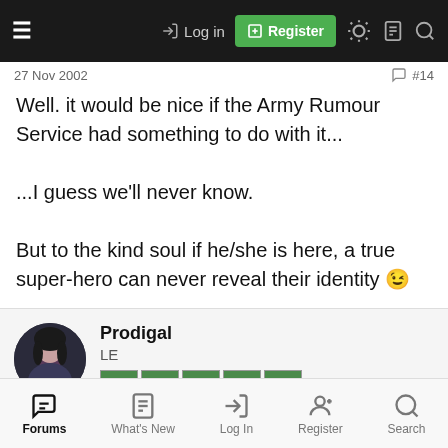Navigation bar with Log in and Register buttons
27 Nov 2002   #14
Well. it would be nice if the Army Rumour Service had something to do with it...

...I guess we'll never know.

But to the kind soul if he/she is here, a true super-hero can never reveal their identity 😉
Prodigal
LE
Forums   What's New   Log In   Register   Search